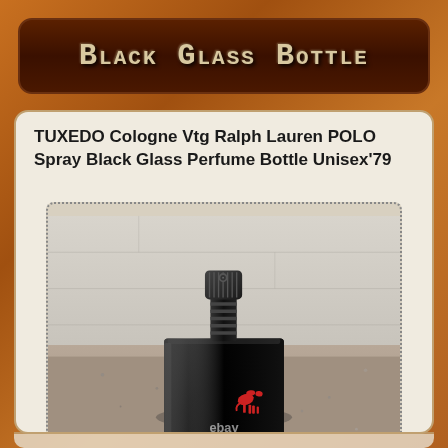Black Glass Bottle
TUXEDO Cologne Vtg Ralph Lauren POLO Spray Black Glass Perfume Bottle Unisex'79
[Figure (photo): A black glass square perfume bottle with a ribbed spray pump top, featuring a small red Polo pony logo on the front, photographed on a granite surface with a brick wall background. An eBay watermark is visible.]